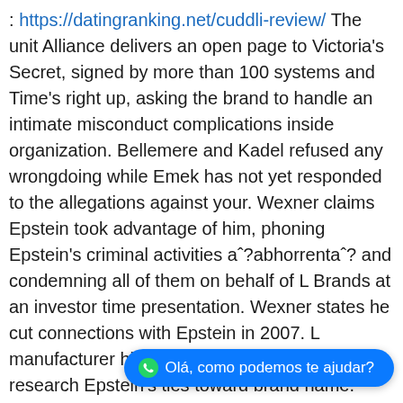: https://datingranking.net/cuddli-review/ The unit Alliance delivers an open page to Victoria's Secret, signed by more than 100 systems and Time's right up, asking the brand to handle an intimate misconduct complications inside organization. Bellemere and Kadel refused any wrongdoing while Emek has not yet responded to the allegations against your. Wexner claims Epstein took advantage of him, phoning Epstein's criminal activities aˆ?abhorrentaˆ? and condemning all of them on behalf of L Brands at an investor time presentation. Wexner states he cut connections with Epstein in 2007. L manufacturer hires external advice in July to research Epstein's ties toward brand name.
: past Michigan county college Dean William Strampel is actually sentenced to per year in jail for criminal conduct in office an... been accused of perhaps not supervising disgraced